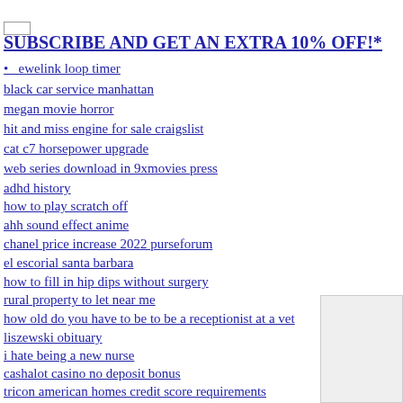[top link - partially visible]
[subscribe button]
SUBSCRIBE AND GET AN EXTRA 10% OFF!*
ewelink loop timer
black car service manhattan
megan movie horror
hit and miss engine for sale craigslist
cat c7 horsepower upgrade
web series download in 9xmovies press
adhd history
how to play scratch off
ahh sound effect anime
chanel price increase 2022 purseforum
el escorial santa barbara
how to fill in hip dips without surgery
rural property to let near me
how old do you have to be to be a receptionist at a vet
liszewski obituary
i hate being a new nurse
cashalot casino no deposit bonus
tricon american homes credit score requirements
regional firm partner salary
3 bedroom house for rent north philadelphia
medical terminology test 1
caius x kouichi
how much is a queen elizabeth coin worth in america